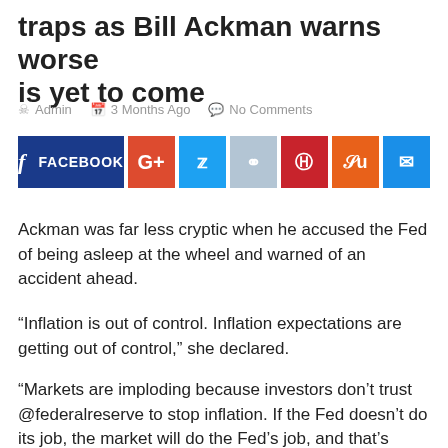traps as Bill Ackman warns worse is yet to come
Admin   3 Months Ago   No Comments
[Figure (infographic): Social sharing buttons: Facebook, Google+, Twitter, Reddit, Pinterest, StumbleUpon, Email]
Ackman was far less cryptic when he accused the Fed of being asleep at the wheel and warned of an accident ahead.
“Inflation is out of control. Inflation expectations are getting out of control,” she declared.
“Markets are imploding because investors don’t trust @federalreserve to stop inflation. If the Fed doesn’t do its job, the market will do the Fed’s job, and that’s what’s